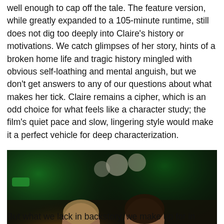well enough to cap off the tale. The feature version, while greatly expanded to a 105-minute runtime, still does not dig too deeply into Claire's history or motivations. We catch glimpses of her story, hints of a broken home life and tragic history mingled with obvious self-loathing and mental anguish, but we don't get answers to any of our questions about what makes her tick. Claire remains a cipher, which is an odd choice for what feels like a character study; the film's quiet pace and slow, lingering style would make it a perfect vehicle for deep characterization.
[Figure (photo): A dark nightclub scene with two women sitting at a table with candles and bottles. Green lighting in the background, warm candlelight in the foreground. Balloons visible in the upper background.]
But what we lack in backstory, we make up for in